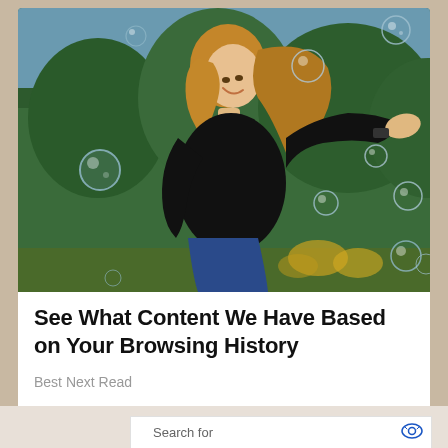[Figure (photo): Woman in black t-shirt outdoors with soap bubbles floating around her, smiling and holding out her hand, trees in background]
See What Content We Have Based on Your Browsing History
Best Next Read
Search for
1 Government Hardship Grants 2022
2 State Unclaimed Funds